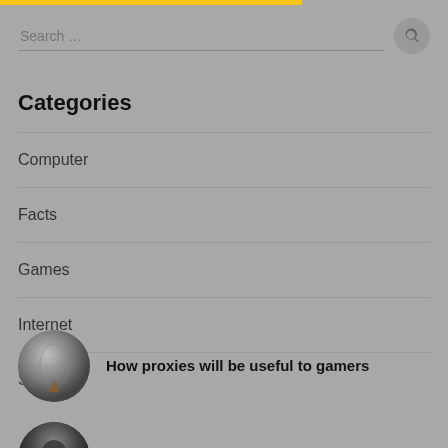Search ...
Categories
Computer
Facts
Games
Internet
SEO
[Figure (photo): Globe-like sphere with figure, thumbnail for 'How proxies will be useful to gamers']
How proxies will be useful to gamers
[Figure (photo): Dark circular thumbnail for 'Role-playing Action In The Fantasy World']
Role-playing Action In The Fantasy World